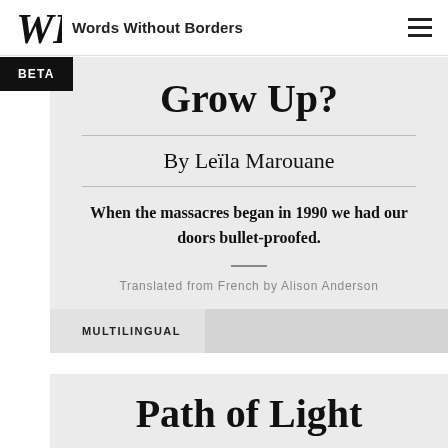Words Without Borders
Grow Up?
By Leïla Marouane
When the massacres began in 1990 we had our doors bullet-proofed.
Translated from French by Alison Anderson
MULTILINGUAL
Path of Light